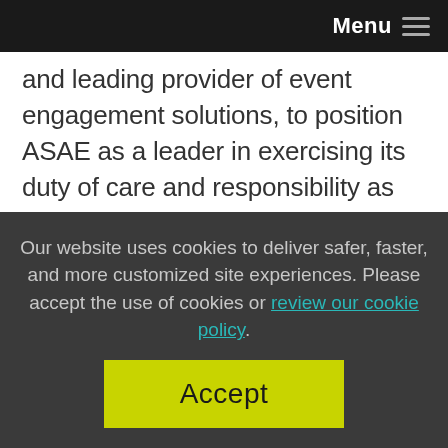Menu
and leading provider of event engagement solutions, to position ASAE as a leader in exercising its duty of care and responsibility as host of in-person events in the industry.
Our website uses cookies to deliver safer, faster, and more customized site experiences. Please accept the use of cookies or review our cookie policy.
Accept